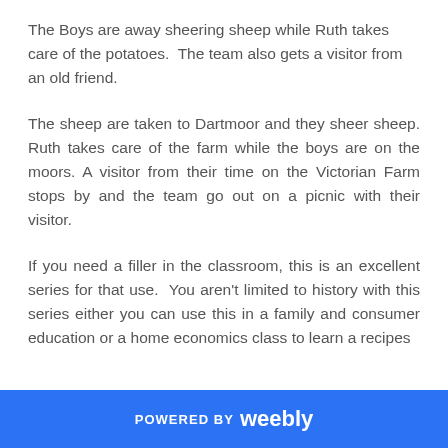The Boys are away sheering sheep while Ruth takes care of the potatoes.  The team also gets a visitor from an old friend.
The sheep are taken to Dartmoor and they sheer sheep. Ruth takes care of the farm while the boys are on the moors. A visitor from their time on the Victorian Farm stops by and the team go out on a picnic with their visitor.
If you need a filler in the classroom, this is an excellent series for that use.  You aren't limited to history with this series either you can use this in a family and consumer education or a home economics class to learn a recipes
POWERED BY weebly